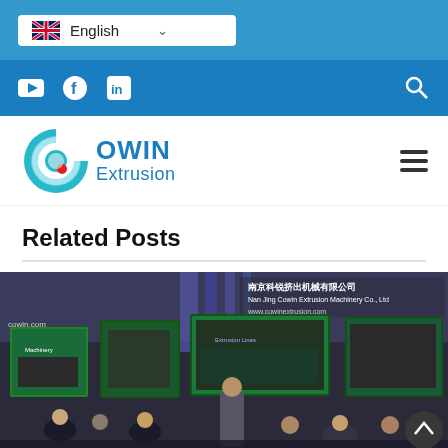English (language selector)
YouTube, Facebook, LinkedIn social icons and search icon
[Figure (logo): COWIN Extrusion company logo with teal C icon and red dot, blue text reading COWIN Extrusion]
Related Posts
[Figure (photo): Exhibition booth photo for Nanjing Cowin Extrusion Machinery Co., Ltd showing large display screens with machinery images, people seated in discussion. Text visible: cowin.com, 南京科锐挤出机械有限公司, Nan Jing Cowin Extrusion Machinery Co., Ltd, www.cowinextrusion.com]